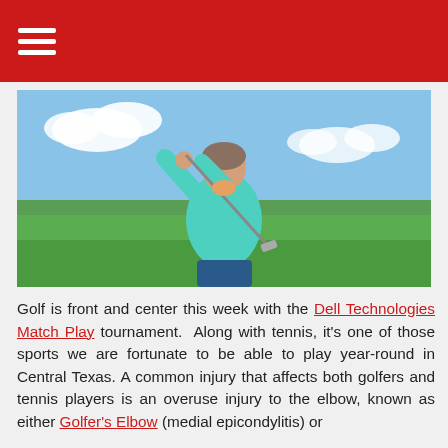[Figure (photo): Man in teal polo shirt mid-golf swing on a golf course, viewed from behind, with blue sky and green fairway in background]
Golf is front and center this week with the Dell Technologies Match Play tournament.  Along with tennis, it's one of those sports we are fortunate to be able to play year-round in Central Texas. A common injury that affects both golfers and tennis players is an overuse injury to the elbow, known as either Golfer's Elbow (medial epicondylitis) or